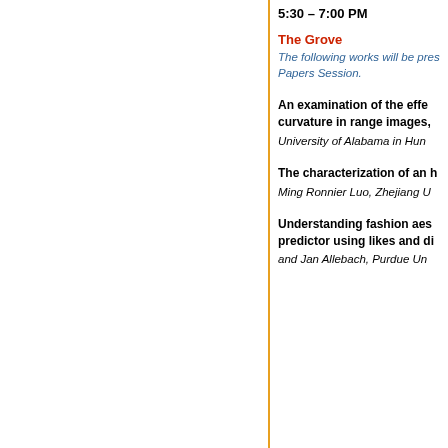5:30 – 7:00 PM
The Grove
The following works will be presented during this Works-in-Progress Papers Session.
An examination of the effects of noise on the estimation of curvature in range images, University of Alabama in Huntsville
The characterization of an h... Ming Ronnier Luo, Zhejiang U...
Understanding fashion aes... predictor using likes and di... and Jan Allebach, Purdue Un...